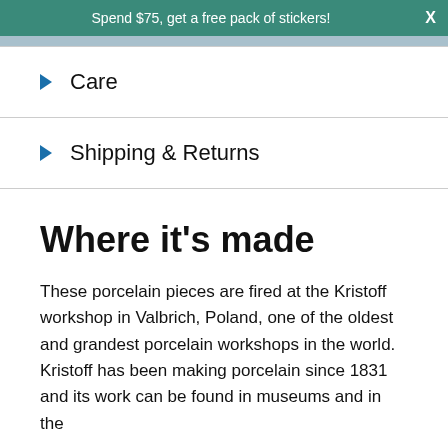Spend $75, get a free pack of stickers!
Care
Shipping & Returns
Where it's made
These porcelain pieces are fired at the Kristoff workshop in Valbrich, Poland, one of the oldest and grandest porcelain workshops in the world. Kristoff has been making porcelain since 1831 and its work can be found in museums and in the